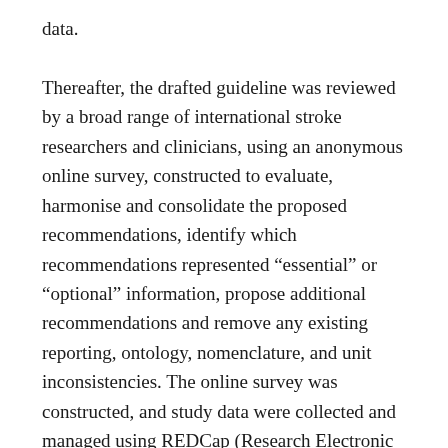data.

Thereafter, the drafted guideline was reviewed by a broad range of international stroke researchers and clinicians, using an anonymous online survey, constructed to evaluate, harmonise and consolidate the proposed recommendations, identify which recommendations represented “essential” or “optional” information, propose additional recommendations and remove any existing reporting, ontology, nomenclature, and unit inconsistencies. The online survey was constructed, and study data were collected and managed using REDCap (Research Electronic Data Capture) 7.5.0, hosted at The Centre for Proteomic and Genomic Research (CPGR) (Harris et al.,